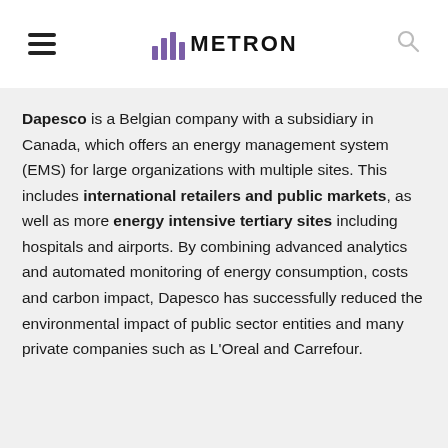METRON
Dapesco is a Belgian company with a subsidiary in Canada, which offers an energy management system (EMS) for large organizations with multiple sites. This includes international retailers and public markets, as well as more energy intensive tertiary sites including hospitals and airports. By combining advanced analytics and automated monitoring of energy consumption, costs and carbon impact, Dapesco has successfully reduced the environmental impact of public sector entities and many private companies such as L'Oreal and Carrefour.